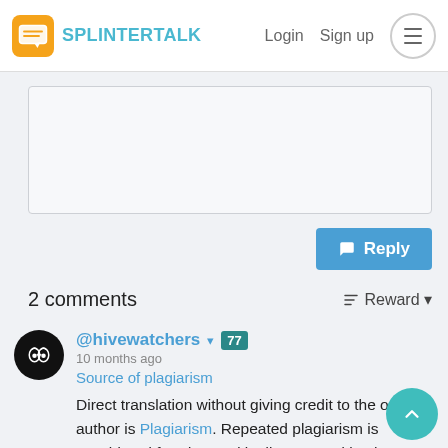SPLINTERTALK — Login  Sign up
[Figure (screenshot): Text editor / reply box area (empty textarea)]
Reply
2 comments
Reward
[Figure (illustration): Avatar: black circle with white owl/butterfly mask icon]
@hivewatchers ▾ 77
10 months ago
Source of plagiarism
Direct translation without giving credit to the original author is Plagiarism. Repeated plagiarism is considered fraud. Fraud is discouraged by the community and may result